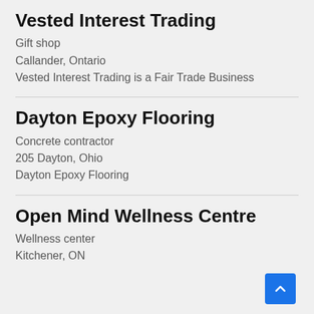Vested Interest Trading
Gift shop
Callander, Ontario
Vested Interest Trading is a Fair Trade Business
Dayton Epoxy Flooring
Concrete contractor
205 Dayton, Ohio
Dayton Epoxy Flooring
Open Mind Wellness Centre
Wellness center
Kitchener, ON